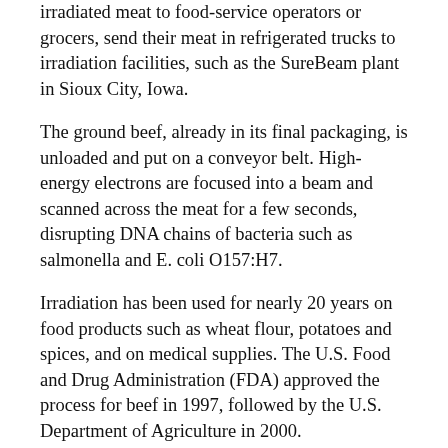irradiated meat to food-service operators or grocers, send their meat in refrigerated trucks to irradiation facilities, such as the SureBeam plant in Sioux City, Iowa.
The ground beef, already in its final packaging, is unloaded and put on a conveyor belt. High-energy electrons are focused into a beam and scanned across the meat for a few seconds, disrupting DNA chains of bacteria such as salmonella and E. coli O157:H7.
Irradiation has been used for nearly 20 years on food products such as wheat flour, potatoes and spices, and on medical supplies. The U.S. Food and Drug Administration (FDA) approved the process for beef in 1997, followed by the U.S. Department of Agriculture in 2000.
The government approvals paved the way for companies such as San Diego-based Titan Corp. to begin ground beef irradiation under its SureBeam brand. The electron-beam technology has received